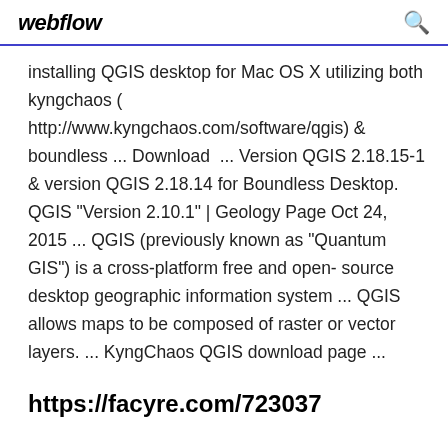webflow
installing QGIS desktop for Mac OS X utilizing both kyngchaos ( http://www.kyngchaos.com/software/qgis) & boundless ... Download  ... Version QGIS 2.18.15-1 & version QGIS 2.18.14 for Boundless Desktop. QGIS "Version 2.10.1" | Geology Page Oct 24, 2015 ... QGIS (previously known as "Quantum GIS") is a cross-platform free and open- source desktop geographic information system ... QGIS allows maps to be composed of raster or vector layers. ... KyngChaos QGIS download page ...
https://facyre.com/723037